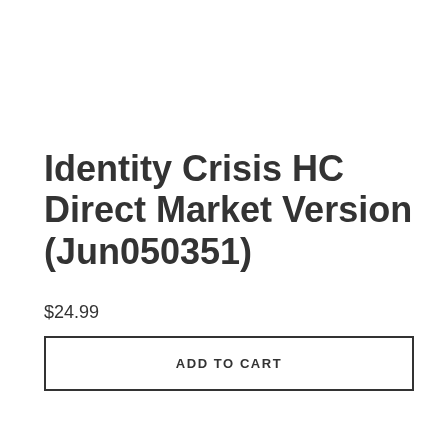Identity Crisis HC Direct Market Version (Jun050351)
$24.99
ADD TO CART